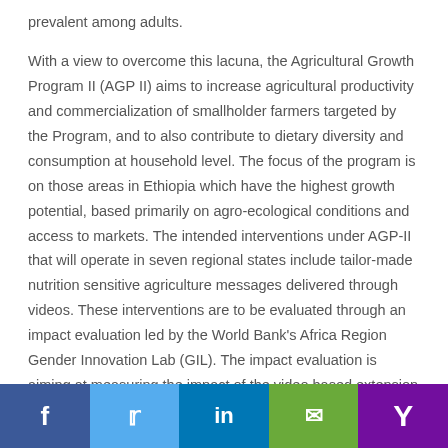prevalent among adults.
With a view to overcome this lacuna, the Agricultural Growth Program II (AGP II) aims to increase agricultural productivity and commercialization of smallholder farmers targeted by the Program, and to also contribute to dietary diversity and consumption at household level. The focus of the program is on those areas in Ethiopia which have the highest growth potential, based primarily on agro-ecological conditions and access to markets. The intended interventions under AGP-II that will operate in seven regional states include tailor-made nutrition sensitive agriculture messages delivered through videos. These interventions are to be evaluated through an impact evaluation led by the World Bank's Africa Region Gender Innovation Lab (GIL). The impact evaluation is aiming at measuring the impact of the video based extension in 20 AGP II woredas and 160 kebeles.
Share buttons: Facebook, Twitter, LinkedIn, Email, Yahoo